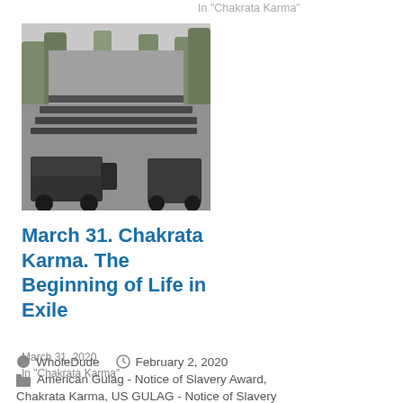In “Chakrata Karma”
[Figure (photo): Black and white historical photograph showing a military parade or procession with a jeep in the foreground and rows of soldiers/people in the background, with trees lining a street.]
March 31. Chakrata Karma. The Beginning of Life in Exile
March 31, 2020
In “Chakrata Karma”
WholeDude   February 2, 2020   American Gulag - Notice of Slavery Award, Chakrata Karma, US GULAG - Notice of Slavery